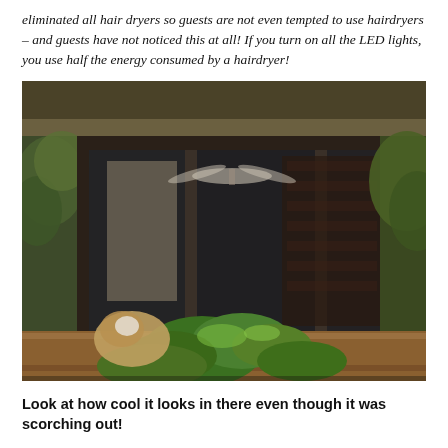eliminated all hair dryers so guests are not even tempted to use hairdryers – and guests have not noticed this at all! If you turn on all the LED lights, you use half the energy consumed by a hairdryer!
[Figure (photo): Exterior view of a tropical resort bungalow with large sliding glass doors reflecting lush green trees. Inside the room a ceiling fan is visible. In the foreground there are green tropical plants and what appears to be an animal (possibly a bird or small mammal) near a wooden railing. The interior looks cool and dark despite bright outdoor sunshine.]
Look at how cool it looks in there even though it was scorching out!